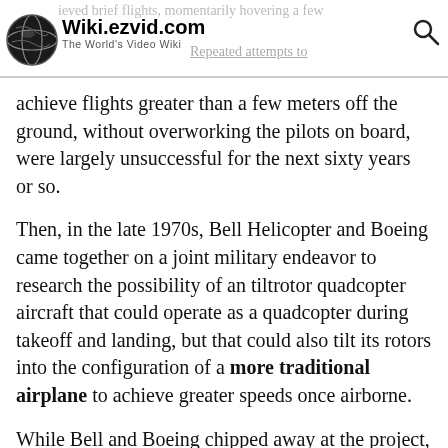Wiki.ezvid.com — The World's Video Wiki
achieve flights greater than a few meters off the ground, without overworking the pilots on board, were largely unsuccessful for the next sixty years or so.
Then, in the late 1970s, Bell Helicopter and Boeing came together on a joint military endeavor to research the possibility of an tiltrotor quadcopter aircraft that could operate as a quadcopter during takeoff and landing, but that could also tilt its rotors into the configuration of a more traditional airplane to achieve greater speeds once airborne.
While Bell and Boeing chipped away at the project, which would eventually get shelved in the early 21st